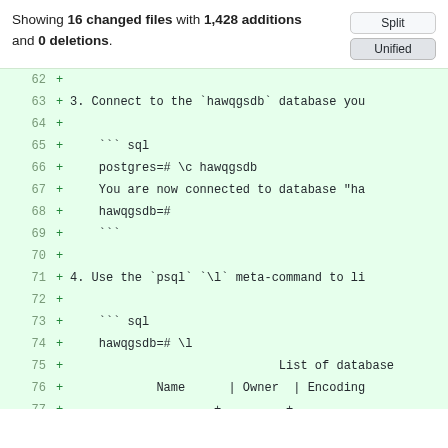Showing 16 changed files with 1,428 additions and 0 deletions.
Split / Unified buttons
[Figure (screenshot): Git diff view showing added lines 62-79 with green background, monospace code showing database connection commands and hawqgsdb psql output]